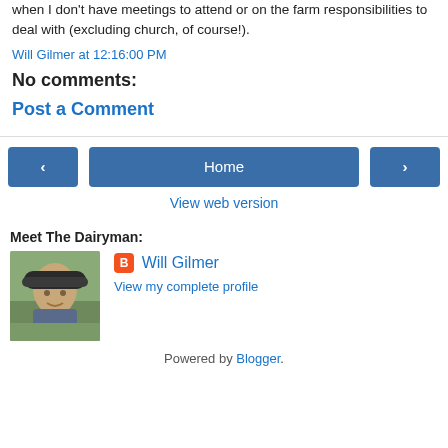when I don't have meetings to attend or on the farm responsibilities to deal with (excluding church, of course!).
Will Gilmer at 12:16:00 PM
No comments:
Post a Comment
[Figure (infographic): Navigation buttons: left arrow, Home, right arrow]
View web version
Meet The Dairyman:
[Figure (photo): Profile photo of Will Gilmer, a man wearing a baseball cap, smiling outdoors]
Will Gilmer
View my complete profile
Powered by Blogger.